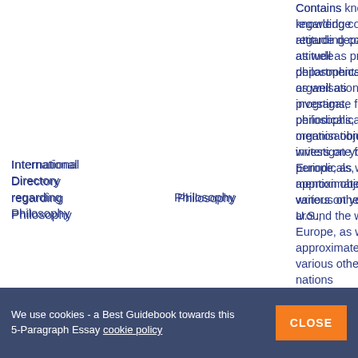International Directory regarding Philosophy
Philosophy
Contains knowledge regarding college attitude departments as well as programs, philosophical organisations, investigate facilities, periodicals, not to mention objectives writers on your U.S., Europe, as well as approximately 130 various other nations around the world.
Free sear gain acces result of r
Medieval sonic branding investigation
We use cookies - a Best Guidebook towards this 5-Paragraph Essay cookie policy